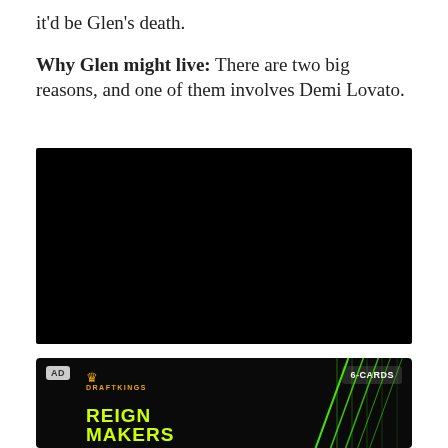it'd be Glen's death.
Why Glen might live: There are two big reasons, and one of them involves Demi Lovato.
[Figure (other): Black video embed placeholder rectangle]
[Figure (other): DraftKings Reign Makers advertisement banner with green diagonal lines, AD badge, 6-CARDS label]